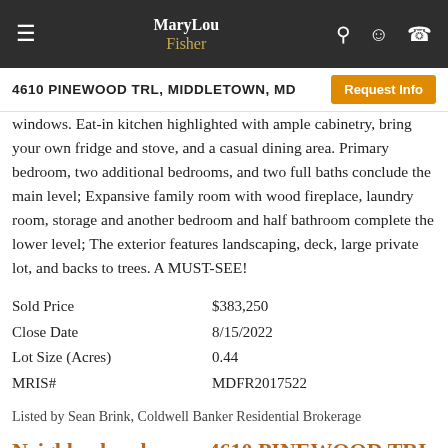MaryLou Fisher
4610 PINEWOOD TRL, MIDDLETOWN, MD
windows. Eat-in kitchen highlighted with ample cabinetry, bring your own fridge and stove, and a casual dining area. Primary bedroom, two additional bedrooms, and two full baths conclude the main level; Expansive family room with wood fireplace, laundry room, storage and another bedroom and half bathroom complete the lower level; The exterior features landscaping, deck, large private lot, and backs to trees. A MUST-SEE!
|  |  |
| --- | --- |
| Sold Price | $383,250 |
| Close Date | 8/15/2022 |
| Lot Size (Acres) | 0.44 |
| MRIS# | MDFR2017522 |
Listed by Sean Brink, Coldwell Banker Residential Brokerage
Neighborhoods near 4610 PINEWOOD TRL